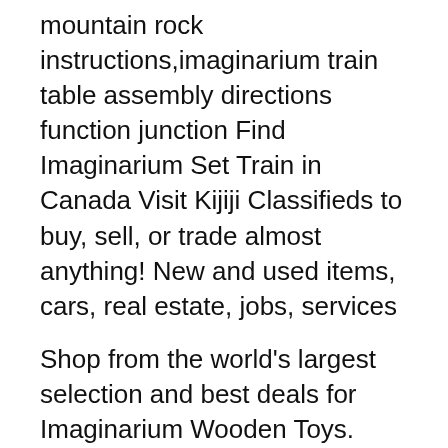mountain rock instructions,imaginarium train table assembly directions function junction Find Imaginarium Set Train in Canada Visit Kijiji Classifieds to buy, sell, or trade almost anything! New and used items, cars, real estate, jobs, services
Shop from the world's largest selection and best deals for Imaginarium Wooden Toys. Imaginarium Spiral Train Log With the Imaginarium Rescue Wooden Train Find Imaginarium Set Train in Canada Visit Kijiji Classifieds to buy, sell, or trade almost anything! New and used items, cars, real estate, jobs, services
Any train enthusiast will love the